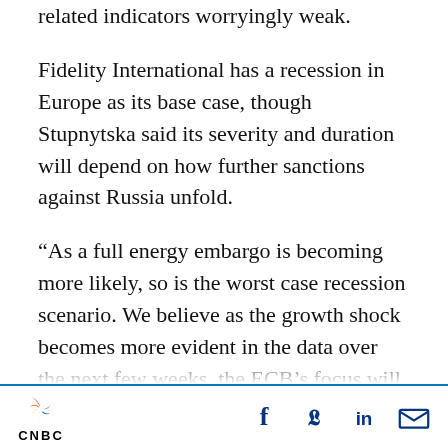related indicators worryingly weak.
Fidelity International has a recession in Europe as its base case, though Stupnytska said its severity and duration will depend on how further sanctions against Russia unfold.
“As a full energy embargo is becoming more likely, so is the worst case recession scenario. We believe as the growth shock becomes more evident in the data over the next few weeks, the ECB’s focus will likely shift away from high inflation towards trying to limit economic and market distress as the invasion of Ukraine and its consequences continues to ripple through the
CNBC | social icons: Facebook, Twitter, LinkedIn, Email